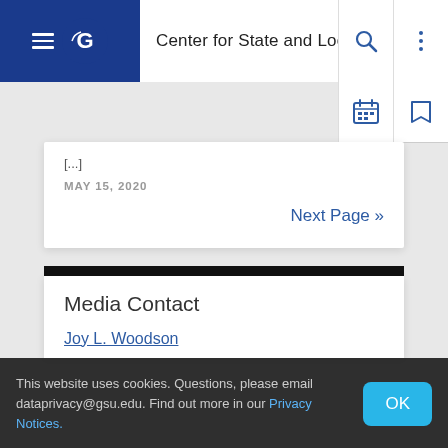Center for State and Local Finance
[...]
MAY 15, 2020
Next Page »
Media Contact
Joy L. Woodson
This website uses cookies. Questions, please email dataprivacy@gsu.edu. Find out more in our Privacy Notices.